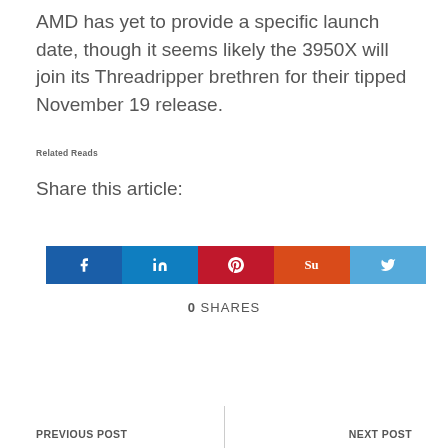AMD has yet to provide a specific launch date, though it seems likely the 3950X will join its Threadripper brethren for their tipped November 19 release.
Related Reads
Share this article:
[Figure (infographic): Five social media share buttons: Facebook (blue), LinkedIn (blue), Pinterest (red), StumbleUpon (orange), Twitter (light blue), each with its respective icon in white.]
0  SHARES
PREVIOUS POST   NEXT POST